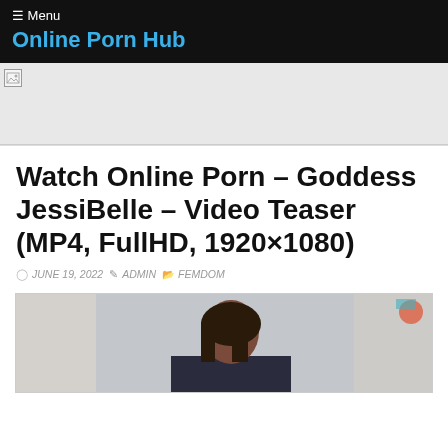☰ Menu
Online Porn Hub
[Figure (other): Broken image / advertisement banner placeholder in gray]
Watch Online Porn – Goddess JessiBelle – Video Teaser (MP4, FullHD, 1920×1080)
◎  JUNE 19, 2022  ✎ ADMIN  🗂 FEMDOM
[Figure (photo): Partial photo of a woman with long dark hair standing in a room with curtains in the background, image is cropped at the bottom]